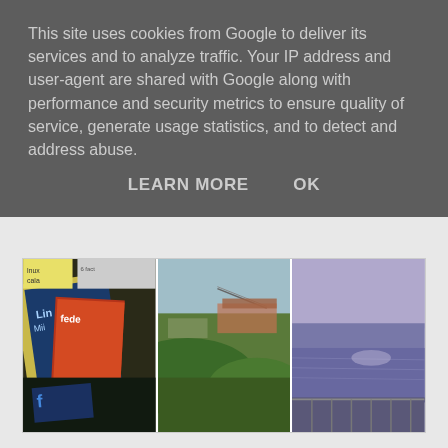This site uses cookies from Google to deliver its services and to analyze traffic. Your IP address and user-agent are shared with Google along with performance and security metrics to ensure quality of service, generate usage statistics, and to detect and address abuse.
LEARN MORE    OK
[Figure (photo): Three side-by-side photos: left shows Linux/technology magazines stacked on a surface, center shows an aerial view of Dundee city with a bridge and stadium visible, right shows a waterfront or river scene with railings in purple/grey tones.]
It is now a year since I said my final goodbye to living in Dundee. Roughly this time last year I handed back my keys to my flat near the football stadiums and headed back up to my old life in Aberdeen, just days after I shot ouzo on my leaving night and didn't even make it out (to the award winning student union).